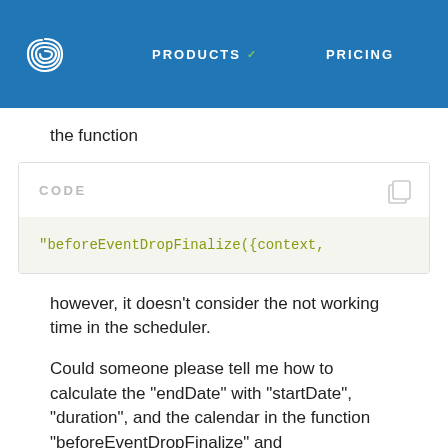PRODUCTS   PRICING
the function
"beforeEventDropFinalize({context,
however, it doesn't consider the not working time in the scheduler.
Could someone please tell me how to calculate the "endDate" with "startDate", "duration", and the calendar in the function "beforeEventDropFinalize" and "beforeEventSave" of scheduler? Is there a